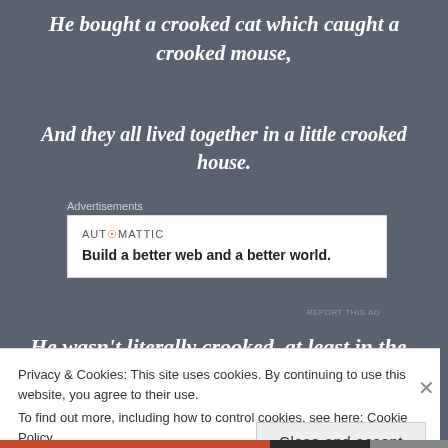He bought a crooked cat which caught a crooked mouse,
And they all lived together in a little crooked house.
Advertisements
[Figure (other): Automattic advertisement banner: 'Build a better web and a better world.']
REPORT THIS AD
He wasn’t literally crooked, at least in the
Privacy & Cookies: This site uses cookies. By continuing to use this website, you agree to their use.
To find out more, including how to control cookies, see here: Cookie Policy
Close and accept